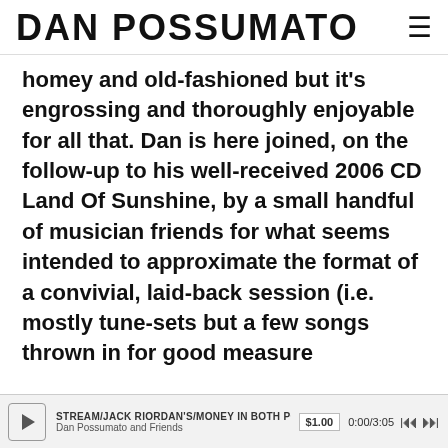DAN POSSUMATO ≡
homey and old-fashioned but it's engrossing and thoroughly enjoyable for all that. Dan is here joined, on the follow-up to his well-received 2006 CD Land Of Sunshine, by a small handful of musician friends for what seems intended to approximate the format of a convivial, laid-back session (i.e. mostly tune-sets but a few songs thrown in for good measure
STREAM/JACK RIORDAN'S/MONEY IN BOTH POCKETS — Dan Possumato and Friends — $1.00 — 0:00/3:05